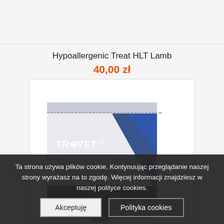Hypoallergenic Treat HLT Lamb
40,00 zł
[Figure (photo): Product package photo: Trovet Hypoallergenic Treat HLT Lamb – white and blue packaging with TROVET logo]
Ta strona używa plików cookie. Kontynuując przeglądanie naszej strony wyrażasz na to zgodę. Więcej informacji znajdziesz w naszej polityce cookies.
Akceptuję
Polityka cookies